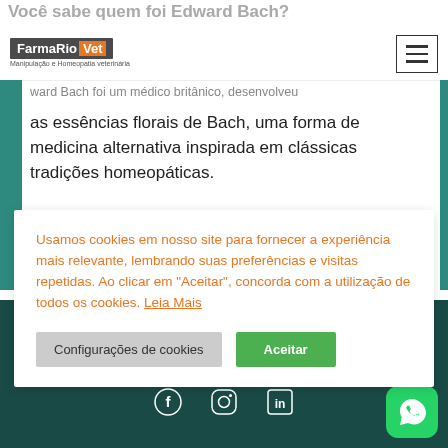Você sabe quem foi Edward Bach?
[Figure (logo): FarmaRio Vet logo - Manipulação e Homeopatia veterinária]
ward Bach foi um médico britânico, desenvolveu as essências florais de Bach, uma forma de medicina alternativa inspirada em clássicas tradições homeopáticas.
Usamos cookies em nosso site para fornecer a experiência mais relevante, lembrando suas preferências e visitas repetidas. Ao clicar em "Aceitar", concorda com a utilização de todos os cookies. Leia Mais
[Figure (logo): FarmaRio Vet footer logo - Manipulação e Homeopatia veterinária]
[Figure (infographic): Social media icons: Facebook, Instagram, LinkedIn]
[Figure (illustration): WhatsApp floating button (green)]